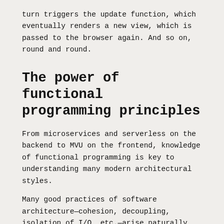turn triggers the update function, which eventually renders a new view, which is passed to the browser again. And so on, round and round.
The power of functional programming principles
From microservices and serverless on the backend to MVU on the frontend, knowledge of functional programming is key to understanding many modern architectural styles.
Many good practices of software architecture—cohesion, decoupling, isolation of I/O, etc.—arise naturally from applying functional-programming principles. For example, we've seen that in a typical